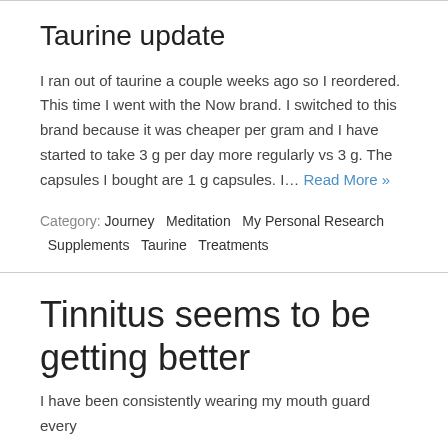Taurine update
I ran out of taurine a couple weeks ago so I reordered. This time I went with the Now brand. I switched to this brand because it was cheaper per gram and I have started to take 3 g per day more regularly vs 3 g. The capsules I bought are 1 g capsules. I… Read More »
Category: Journey  Meditation  My Personal Research  Supplements  Taurine  Treatments
Tinnitus seems to be getting better
I have been consistently wearing my mouth guard every